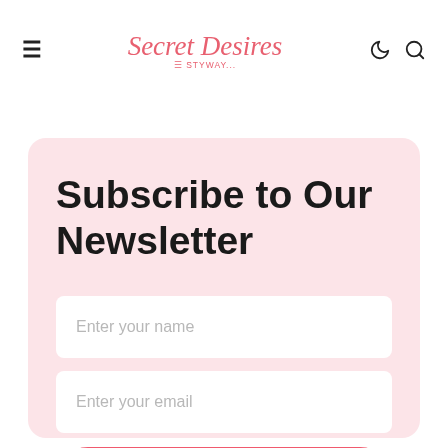Secret Desires by Styway
Subscribe to Our Newsletter
Enter your name
Enter your email
SUBSCRIBE